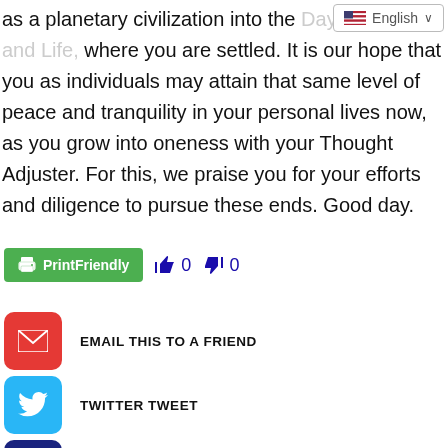as a planetary civilization into the Days of Light and Life, where you are settled. It is our hope that you as individuals may attain that same level of peace and tranquility in your personal lives now, as you grow into oneness with your Thought Adjuster. For this, we praise you for your efforts and diligence to pursue these ends. Good day.
[Figure (screenshot): PrintFriendly button in green, thumbs up vote count 0, thumbs down vote count 0]
[Figure (infographic): Three social sharing buttons: EMAIL THIS TO A FRIEND (red), TWITTER TWEET (blue), SHARE ON FACEBBOK (dark blue)]